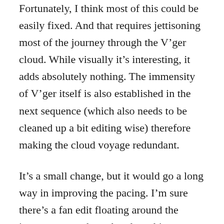Fortunately, I think most of this could be easily fixed. And that requires jettisoning most of the journey through the V’ger cloud. While visually it’s interesting, it adds absolutely nothing. The immensity of V’ger itself is also established in the next sequence (which also needs to be cleaned up a bit editing wise) therefore making the cloud voyage redundant.
It’s a small change, but it would go a long way in improving the pacing. I’m sure there’s a fan edit floating around the internet somewhere that does this.
The uniforms also look underwhelming. I don’t hate them. Some internet genius explained that these surgeon-like uniforms actually highlight the delicacy of the matter: the characters have to be precise in their